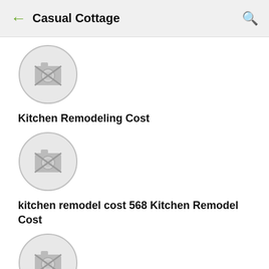Casual Cottage
[Figure (photo): Camera placeholder icon in a circle (no image loaded)]
Kitchen Remodeling Cost
[Figure (photo): Camera placeholder icon in a circle (no image loaded)]
kitchen remodel cost 568 Kitchen Remodel Cost
[Figure (photo): Camera placeholder icon in a circle (no image loaded)]
kitchen renovation cost on Kitchen Renovation Gallery Cost Of Home ...